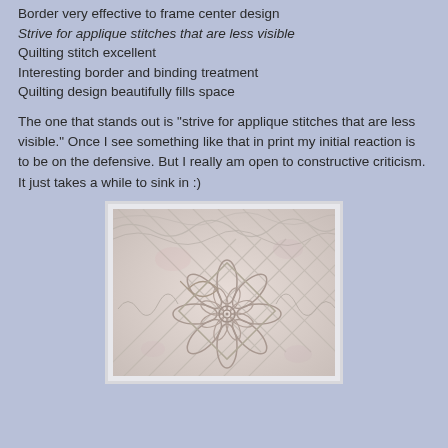Border very effective to frame center design
Strive for applique stitches that are less visible
Quilting stitch excellent
Interesting border and binding treatment
Quilting design beautifully fills space
The one that stands out is "strive for applique stitches that are less visible." Once I see something like that in print my initial reaction is to be on the defensive. But I really am open to constructive criticism. It just takes a while to sink in :)
[Figure (photo): Close-up photograph of a white/cream quilt showing detailed quilting stitches with a floral/medallion center design and geometric diamond patterns around the border]